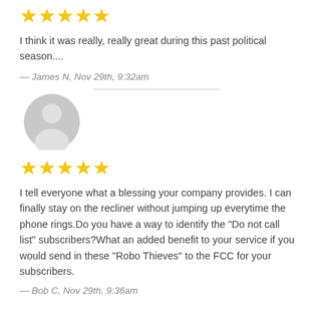[Figure (other): Five gold stars rating]
I think it was really, really great during this past political season....
— James N, Nov 29th, 9:32am
[Figure (other): Gray default user avatar icon (silhouette of a person)]
[Figure (other): Five gold stars rating]
I tell everyone what a blessing your company provides. I can finally stay on the recliner without jumping up everytime the phone rings.Do you have a way to identify the "Do not call list" subscribers?What an added benefit to your service if you would send in these "Robo Thieves" to the FCC for your subscribers.
— Bob C, Nov 29th, 9:36am